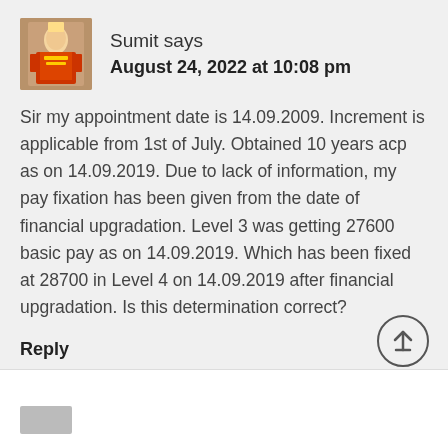[Figure (photo): Avatar/profile photo of Sumit showing a religious figurine statue in orange/red clothing]
Sumit says
August 24, 2022 at 10:08 pm
Sir my appointment date is 14.09.2009. Increment is applicable from 1st of July. Obtained 10 years acp as on 14.09.2019. Due to lack of information, my pay fixation has been given from the date of financial upgradation. Level 3 was getting 27600 basic pay as on 14.09.2019. Which has been fixed at 28700 in Level 4 on 14.09.2019 after financial upgradation. Is this determination correct?
Reply